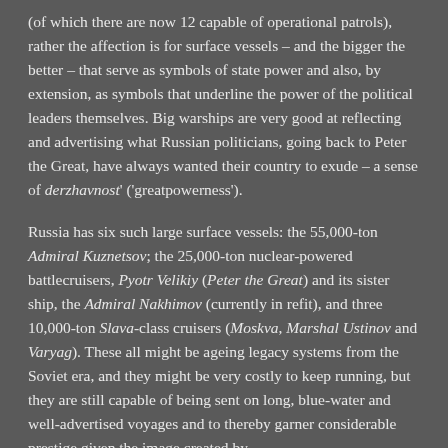(of which there are now 12 capable of operational patrols), rather the affection is for surface vessels – and the bigger the better – that serve as symbols of state power and also, by extension, as symbols that underline the power of the political leaders themselves. Big warships are very good at reflecting and advertising what Russian politicians, going back to Peter the Great, have always wanted their country to exude – a sense of derzhavnost' ('greatpowerness').
Russia has six such large surface vessels: the 55,000-ton Admiral Kuznetsov; the 25,000-ton nuclear-powered battlecruisers, Pyotr Velikiy (Peter the Great) and its sister ship, the Admiral Nakhimov (currently in refit), and three 10,000-ton Slava-class cruisers (Moskva, Marshal Ustinov and Varyag). These all might be ageing legacy systems from the Soviet era, and they might be very costly to keep running, but they are still capable of being sent on long, blue-water and well-advertised voyages and to thereby garner considerable prestige given the image created by